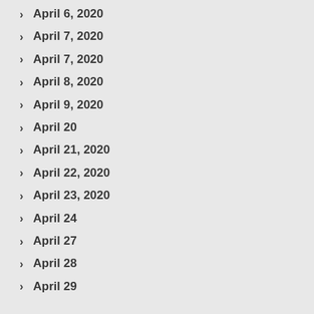April 6, 2020
April 7, 2020
April 7, 2020
April 8, 2020
April 9, 2020
April 20
April 21, 2020
April 22, 2020
April 23, 2020
April 24
April 27
April 28
April 29